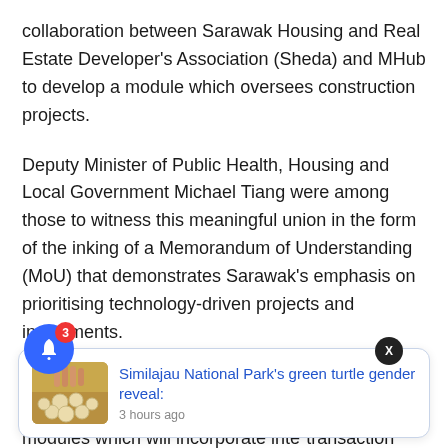collaboration between Sarawak Housing and Real Estate Developer's Association (Sheda) and MHub to develop a module which oversees construction projects.
Deputy Minister of Public Health, Housing and Local Government Michael Tiang were among those to witness this meaningful union in the form of the inking of a Memorandum of Understanding (MoU) that demonstrates Sarawak's emphasis on prioritising technology-driven projects and investments.
He said the strategic alliance was formed with the aim of collaborating on the development of modules which will incorporate inte[r...] transaction and [...] tangible c[...]
[Figure (screenshot): A notification popup card showing a thumbnail of turtle eggs in sand with blue link text 'Similajau National Park's green turtle gender reveal:' and timestamp '3 hours ago'. A close X button appears top right. A blue bell icon with red badge '3' appears bottom left.]